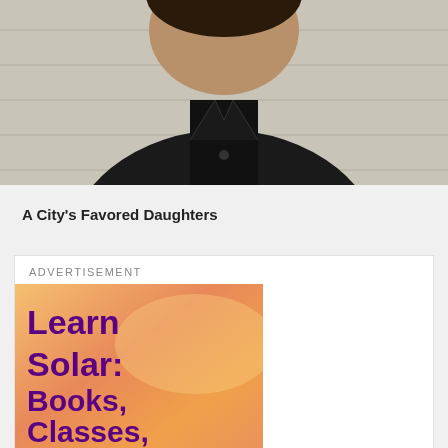[Figure (photo): Person wearing dark clothing photographed from chest up against light background]
A City's Favored Daughters
ADVERTISEMENT
[Figure (illustration): Advertisement for solarPVtraining.com showing 'Learn Solar: Books, Classes, Online' in bold purple text on a warm sunset-toned background]